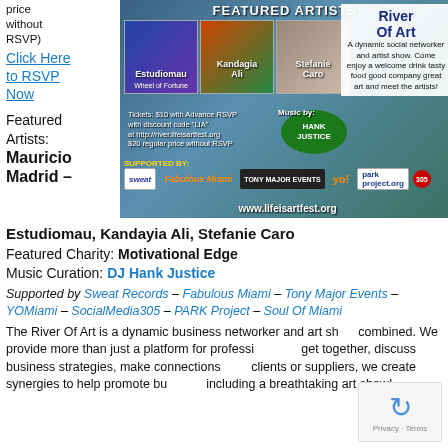price without RSVP) Click Here to RSVP Now
[Figure (infographic): River Of Art event banner featuring artists Estudiomau, Kandayia Ali, Stefanie Caro. Tickets $10 with Advance RSVP, $20 regular. Music by DJ Hank Justice. Supported by Sweat Records, Fabulous Miami, Tony Major Events, YOMiami, PARK Project, 305. Website: www.lifeisartfest.org]
Featured Artists: Mauricio Madrid –
Estudiomau, Kandayia Ali, Stefanie Caro
Featured Charity: Motivational Edge
Music Curation: DJ Hank Justice
Supported by Sweat Records – Fabulous Miami – Tony Major Events – YOMiami – SocialMedia305 – PARK Project – Soul Of Miami
The River Of Art is a dynamic business networker and art show combined. We provide more than just a platform for professionals to get together, discuss business strategies, make connections, find clients or suppliers, we create synergies to help promote business including a breathtaking art show!